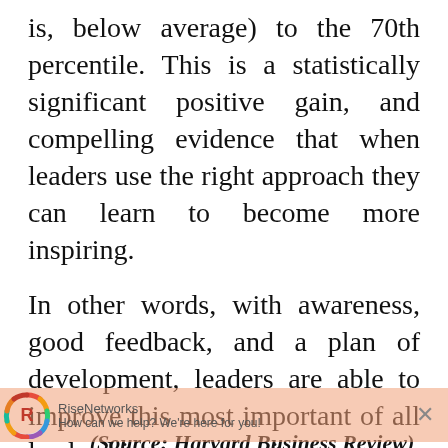is, below average) to the 70th percentile. This is a statistically significant positive gain, and compelling evidence that when leaders use the right approach they can learn to become more inspiring.
In other words, with awareness, good feedback, and a plan of development, leaders are able to improve this most important of all leadership competencies.
RiseNetworks
How can we help? We're here for you!
(Source: Harvard Business Review)
Reply to RiseNetworks...
Opinion pieces of this sort published on RISE Networks